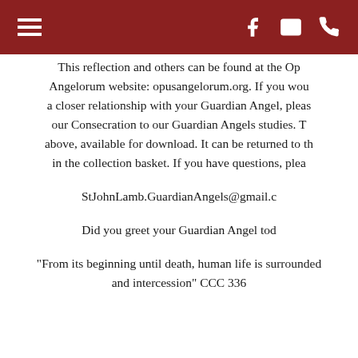Navigation bar with hamburger menu, Facebook, email, and phone icons
Jesus should have rather a ministering angel (or ang serve Him during His time on earth.
This reflection and others can be found at the Op Angelorum website: opusangelorum.org. If you wou a closer relationship with your Guardian Angel, pleas our Consecration to our Guardian Angels studies. T above, available for download. It can be returned to th in the collection basket. If you have questions, plea
StJohnLamb.GuardianAngels@gmail.c
Did you greet your Guardian Angel tod
"From its beginning until death, human life is surrounded and intercession" CCC 336